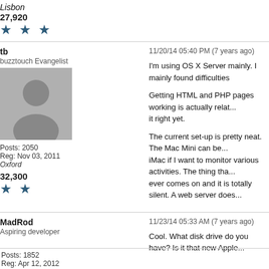Lisbon
27,920
★ ★ ★
tb
buzztouch Evangelist
11/20/14 05:40 PM (7 years ago)
I'm using OS X Server mainly. I mainly found difficulties
Getting HTML and PHP pages working is actually relat... it right yet.
The current set-up is pretty neat. The Mac Mini can be... iMac if I want to monitor various activities. The thing tha... ever comes on and it is totally silent. A web server does...
Posts: 2050
Reg: Nov 03, 2011
Oxford
32,300
★ ★
MadRod
Aspiring developer
11/23/14 05:33 AM (7 years ago)
Cool. What disk drive do you have? Is it that new Apple...
Posts: 1852
Reg: Apr 12, 2012